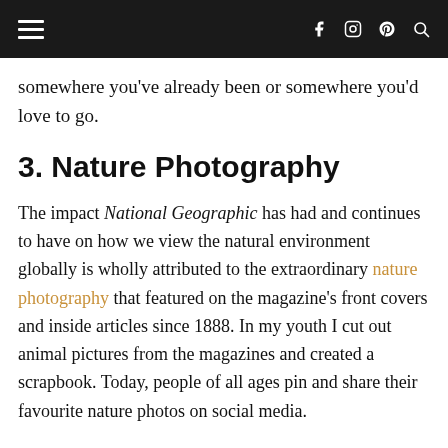≡  f  ⊙  ℗  🔍
somewhere you've already been or somewhere you'd love to go.
3. Nature Photography
The impact National Geographic has had and continues to have on how we view the natural environment globally is wholly attributed to the extraordinary nature photography that featured on the magazine's front covers and inside articles since 1888. In my youth I cut out animal pictures from the magazines and created a scrapbook. Today, people of all ages pin and share their favourite nature photos on social media.